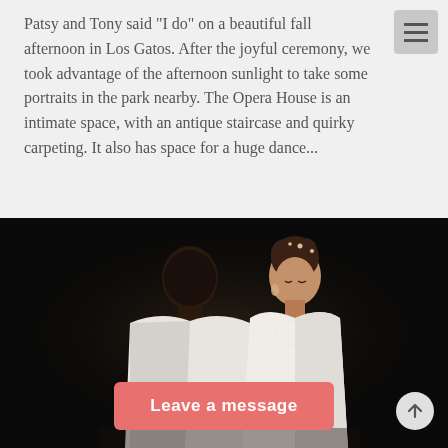Patsy and Tony said “I do” on a beautiful fall afternoon in Los Gatos. After the joyful ceremony, we took advantage of the afternoon sunlight to take some portraits in the park nearby. The Opera House is an intimate space, with an antique staircase and quirky carpeting. It also has space for a huge dance...
[Figure (photo): Wedding photo of a couple dancing in a dark setting. The groom is seen from behind wearing a white suit jacket, and the bride is wearing a white strapless gown with her hair up, looking down.]